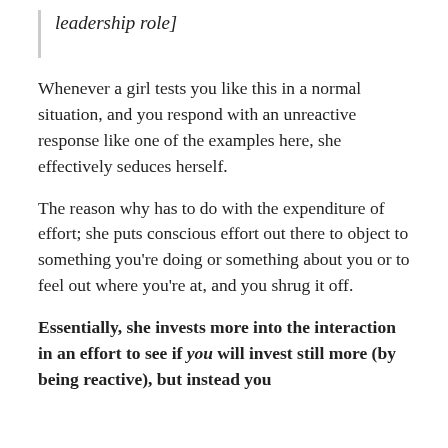leadership role]
Whenever a girl tests you like this in a normal situation, and you respond with an unreactive response like one of the examples here, she effectively seduces herself.
The reason why has to do with the expenditure of effort; she puts conscious effort out there to object to something you’re doing or something about you or to feel out where you’re at, and you shrug it off.
Essentially, she invests more into the interaction in an effort to see if you will invest still more (by being reactive), but instead you